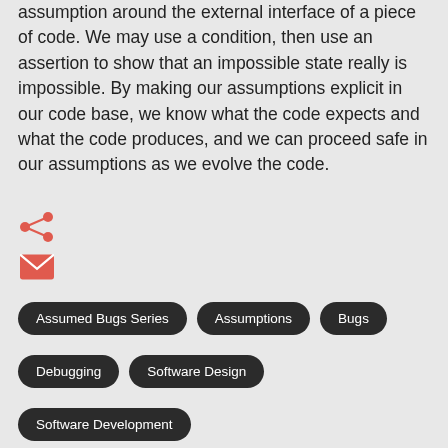assumption around the external interface of a piece of code. We may use a condition, then use an assertion to show that an impossible state really is impossible. By making our assumptions explicit in our code base, we know what the code expects and what the code produces, and we can proceed safe in our assumptions as we evolve the code.
[Figure (other): Share icon (social share symbol) and email icon (red envelope) stacked vertically]
Assumed Bugs Series
Assumptions
Bugs
Debugging
Software Design
Software Development